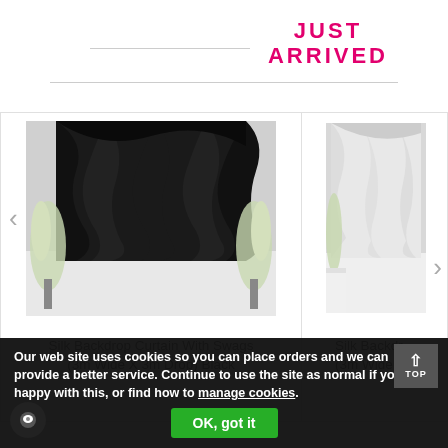JUST ARRIVED
[Figure (photo): Silk Backdrop Curtain with black draping and white floral arrangements on sides]
Silk Backdrop Curtain With Swags (3m Wide X 3m Drop) Black
[Figure (photo): Silk Backdrop Curtain with white/silver draping and white floral arrangement]
Silk Backdr (3m Wide X...
Our web site uses cookies so you can place orders and we can provide a better service. Continue to use the site as normal if you're happy with this, or find how to manage cookies.